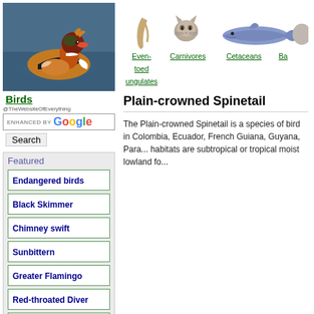[Figure (photo): Mandarin duck swimming on water, colorful plumage]
Birds
@TheWebsiteOfEverything
[Figure (other): Google search box with ENHANCED BY Google label and Search button]
Featured
Endangered birds
Black Skimmer
Chimney swift
Sunbittern
Greater Flamingo
Red-throated Diver
African grey parrot
Tundra swan
[Figure (illustration): Navigation icons: Even-toed ungulates (horn), Carnivores (cat), Cetaceans (whale), and partially visible fourth item]
Plain-crowned Spinetail
The Plain-crowned Spinetail is a species of bird in Colombia, Ecuador, French Guiana, Guyana, Para... habitats are subtropical or tropical moist lowland fo...